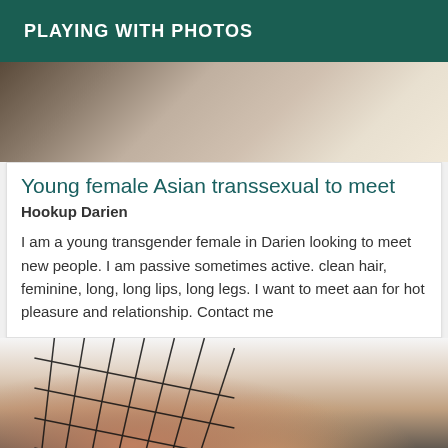PLAYING WITH PHOTOS
[Figure (photo): Partial photo at top of page showing a person, cropped]
Young female Asian transsexual to meet
Hookup Darien
I am a young transgender female in Darien looking to meet new people. I am passive sometimes active. clean hair, feminine, long, long lips, long legs. I want to meet aan for hot pleasure and relationship. Contact me
[Figure (photo): Photo of a person wearing black clothing with net/lace overlay pattern]